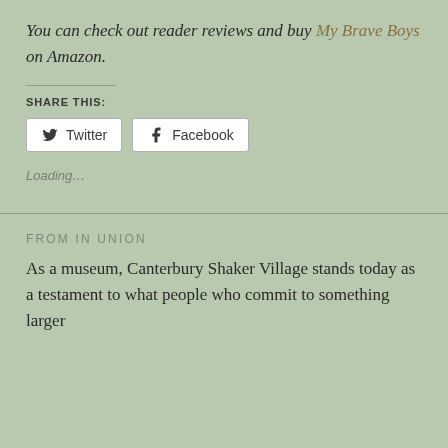You can check out reader reviews and buy My Brave Boys on Amazon.
SHARE THIS:
Twitter  Facebook
Loading...
FROM IN UNION
As a museum, Canterbury Shaker Village stands today as a testament to what people who commit to something larger